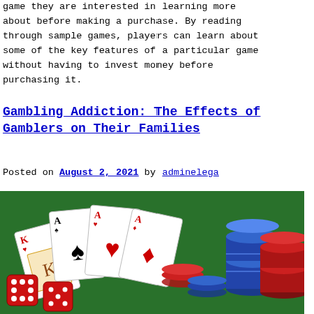game they are interested in learning more about before making a purchase. By reading through sample games, players can learn about some of the key features of a particular game without having to invest money before purchasing it.
Gambling Addiction: The Effects of Gamblers on Their Families
Posted on August 2, 2021 by adminelega
[Figure (photo): Photo of playing cards, casino chips (red, blue, white stacked), and red dice on a green felt surface]